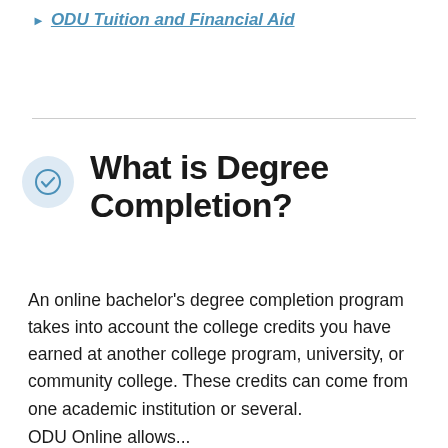ODU Tuition and Financial Aid
What is Degree Completion?
An online bachelor's degree completion program takes into account the college credits you have earned at another college program, university, or community college. These credits can come from one academic institution or several.
ODU Online allows...